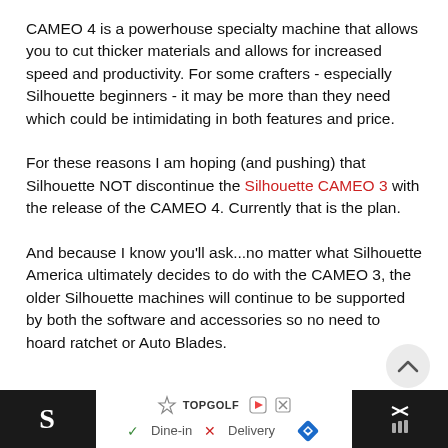CAMEO 4 is a powerhouse specialty machine that allows you to cut thicker materials and allows for increased speed and productivity. For some crafters - especially Silhouette beginners - it may be more than they need which could be intimidating in both features and price.
For these reasons I am hoping (and pushing) that Silhouette NOT discontinue the Silhouette CAMEO 3 with the release of the CAMEO 4. Currently that is the plan.
And because I know you'll ask...no matter what Silhouette America ultimately decides to do with the CAMEO 3, the older Silhouette machines will continue to be supported by both the software and accessories so no need to hoard ratchet or Auto Blades.
[Figure (other): Advertisement bar at the bottom with TopGolf logo, Dine-in and Delivery options with check and X marks, a blue diamond navigation icon, and a close button on the right.]